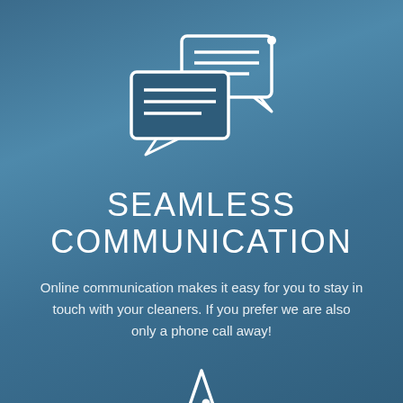[Figure (illustration): White outline icon of two speech/chat bubbles overlapping, with horizontal lines inside representing text, on a blue background]
SEAMLESS COMMUNICATION
Online communication makes it easy for you to stay in touch with your cleaners. If you prefer we are also only a phone call away!
[Figure (illustration): White outline icon of a star, partially visible at the bottom of the page, with a small dot near the top center of the star]